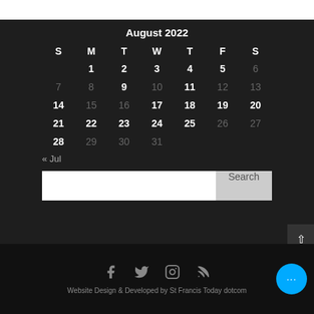| S | M | T | W | T | F | S |
| --- | --- | --- | --- | --- | --- | --- |
|  | 1 | 2 | 3 | 4 | 5 | 6 |
| 7 | 8 | 9 | 10 | 11 | 12 | 13 |
| 14 | 15 | 16 | 17 | 18 | 19 | 20 |
| 21 | 22 | 23 | 24 | 25 | 26 | 27 |
| 28 | 29 | 30 | 31 |  |  |  |
« Jul
Search
Website Design & Developed by St Francis Today dotcom